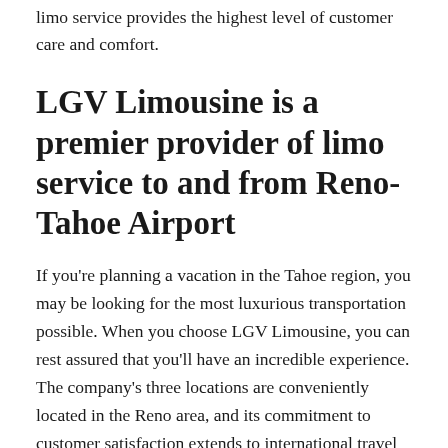limo service provides the highest level of customer care and comfort.
LGV Limousine is a premier provider of limo service to and from Reno-Tahoe Airport
If you're planning a vacation in the Tahoe region, you may be looking for the most luxurious transportation possible. When you choose LGV Limousine, you can rest assured that you'll have an incredible experience. The company's three locations are conveniently located in the Reno area, and its commitment to customer satisfaction extends to international travel as well. If you're looking for a luxury limo, you'll find it hard to beat LGV's affordable rates and exemplary